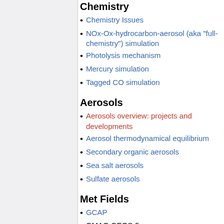Chemistry
Chemistry Issues
NOx-Ox-hydrocarbon-aerosol (aka "full-chemistry") simulation
Photolysis mechanism
Mercury simulation
Tagged CO simulation
Aerosols
Aerosols overview: projects and developments
Aerosol thermodynamical equilibrium
Secondary organic aerosols
Sea salt aerosols
Sulfate aerosols
Met Fields
GCAP
GMAO GEOS-5
List of GEOS-5 met fields
GEOS-5 issues